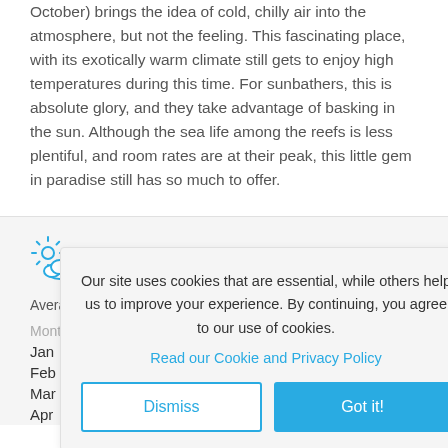October) brings the idea of cold, chilly air into the atmosphere, but not the feeling. This fascinating place, with its exotically warm climate still gets to enjoy high temperatures during this time. For sunbathers, this is absolute glory, and they take advantage of basking in the sun. Although the sea life among the reefs is less plentiful, and room rates are at their peak, this little gem in paradise still has so much to offer.
[Figure (other): Sun and cloud weather icon in blue]
We[ather]
Average te[mperature]
| Month |  |  |  |
| --- | --- | --- | --- |
| Jan | 25°C | 30°C | 90 |
| Feb | 25°C | 31°C | 70 |
| Mar | 26°C | 31°C | 80 |
| Apr | 26°C | 32°C |  |
Our site uses cookies that are essential, while others help us to improve your experience. By continuing, you agree to our use of cookies.
Read our Cookie and Privacy Policy
Dismiss
Got it!